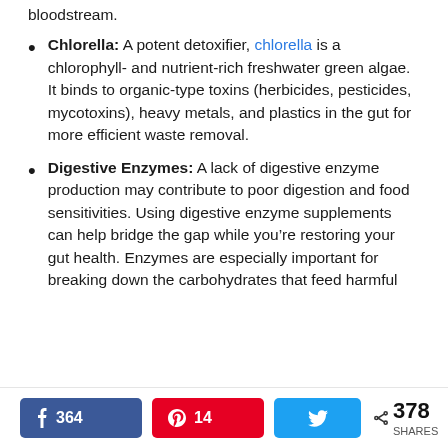bloodstream.
Chlorella: A potent detoxifier, chlorella is a chlorophyll- and nutrient-rich freshwater green algae. It binds to organic-type toxins (herbicides, pesticides, mycotoxins), heavy metals, and plastics in the gut for more efficient waste removal.
Digestive Enzymes: A lack of digestive enzyme production may contribute to poor digestion and food sensitivities. Using digestive enzyme supplements can help bridge the gap while you’re restoring your gut health. Enzymes are especially important for breaking down the carbohydrates that feed harmful
364  14  378 SHARES